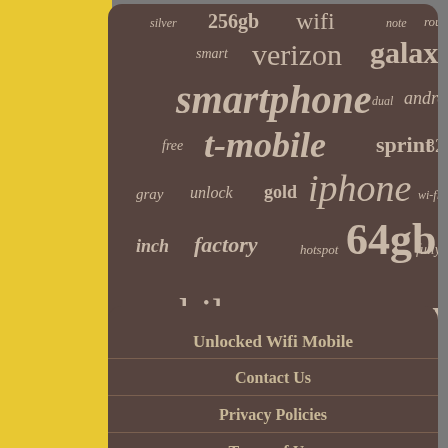[Figure (infographic): Word cloud on dark brownish-red background with tech/mobile related terms in varying sizes. Top section: silver, 256gb, wifi, note, router, smart, verizon, galaxy, smartphone, dual, android, free, t-mobile, sprint, 32gb, gray, unlock, gold, iphone, wi-fi, inch, factory, hotspot, 64gb, fully, mobile, samsung, apple, space, phone, 128gb]
Unlocked Wifi Mobile
Contact Us
Privacy Policies
Terms of Use